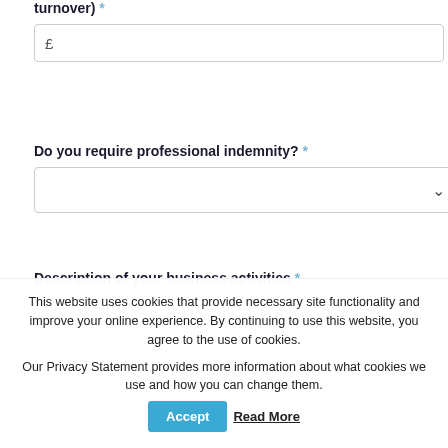turnover) *
£
Do you require professional indemnity? *
Description of your business activities *
This website uses cookies that provide necessary site functionality and improve your online experience. By continuing to use this website, you agree to the use of cookies.
Our Privacy Statement provides more information about what cookies we use and how you can change them.
Accept
Read More